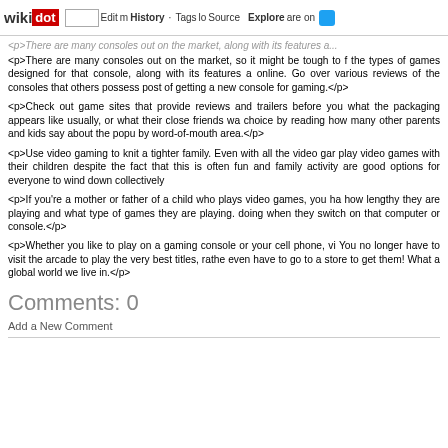wikidot | site | Edit | History | Tags | Source | Explore | Share on Twitter
<p>There are many consoles out on the market, so it might be tough to f the types of games designed for that console, along with its features a online. Go over various reviews of the consoles that others possess post of getting a new console for gaming.</p>
<p>Check out game sites that provide reviews and trailers before you what the packaging appears like usually, or what their close friends wa choice by reading how many other parents and kids say about the popu by word-of-mouth area.</p>
<p>Use video gaming to knit a tighter family. Even with all the video gar play video games with their children despite the fact that this is often fun and family activity are good options for everyone to wind down collectively</p>
<p>If you're a mother or father of a child who plays video games, you ha how lengthy they are playing and what type of games they are playing. doing when they switch on that computer or console.</p>
<p>Whether you like to play on a gaming console or your cell phone, vi You no longer have to visit the arcade to play the very best titles, rathe even have to go to a store to get them! What a global world we live in.</p>
Comments: 0
Add a New Comment